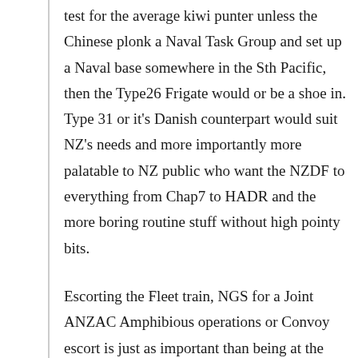test for the average kiwi punter unless the Chinese plonk a Naval Task Group and set up a Naval base somewhere in the Sth Pacific, then the Type26 Frigate would or be a shoe in. Type 31 or it's Danish counterpart would suit NZ's needs and more importantly more palatable to NZ public who want the NZDF to everything from Chap7 to HADR and the more boring routine stuff without high pointy bits.
Escorting the Fleet train, NGS for a Joint ANZAC Amphibious operations or Convoy escort is just as important than being at the pointy end of High intensity operations. As the old saying goes “Logistics wins Wars”.